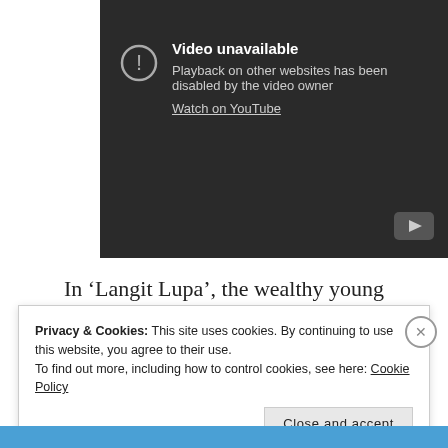[Figure (screenshot): YouTube embedded video player showing 'Video unavailable' error message. Dark background with exclamation icon, text reading 'Video unavailable', 'Playback on other websites has been disabled by the video owner', and a 'Watch on YouTube' link. YouTube logo button visible at bottom right.]
In ‘Langit Lupa’, the wealthy young
Privacy & Cookies: This site uses cookies. By continuing to use this website, you agree to their use.
To find out more, including how to control cookies, see here: Cookie Policy
Close and accept